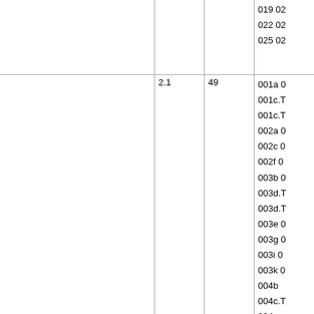|  |  |  | 019 02
022 02
025 02 |
| 2.1 | 49 | 001a 0
001c.T
001c.T
002a 0
002c 0
002f 0
003b 0
003d.T
003d.T
003e 0
003g 0
003i 0
003k 0
004b
004c.T
004... |